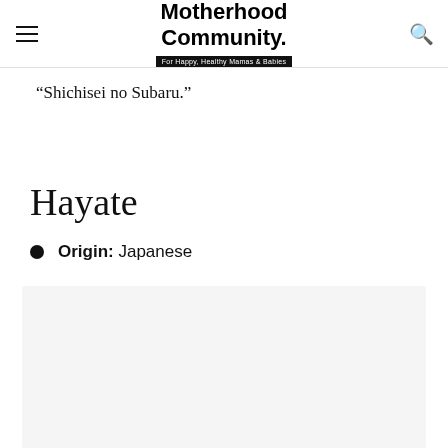Motherhood Community. For Happy, Healthy Mamas & Babies
“Shichisei no Subaru.”
Hayate
Origin: Japanese
[Figure (other): Advertisement or placeholder block with light gray background]